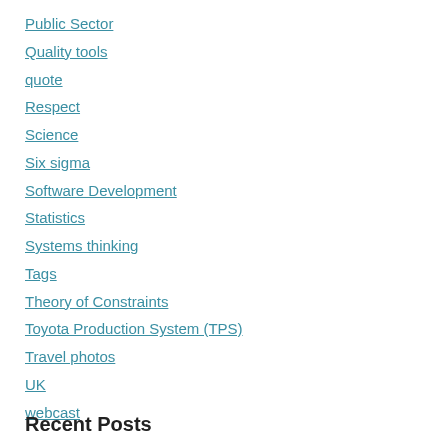Public Sector
Quality tools
quote
Respect
Science
Six sigma
Software Development
Statistics
Systems thinking
Tags
Theory of Constraints
Toyota Production System (TPS)
Travel photos
UK
webcast
Recent Posts